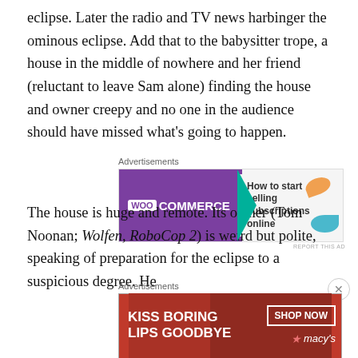eclipse.  Later the radio and TV news harbinger the ominous eclipse.  Add that to the babysitter trope, a house in the middle of nowhere and her friend (reluctant to leave Sam alone) finding the house and owner creepy and no one in the audience should have missed what's going to happen.
[Figure (infographic): WooCommerce advertisement banner: purple background on left with WooCommerce logo and teal arrow shape, right side with text 'How to start selling subscriptions online' and decorative orange and teal shapes]
The house is huge and remote.  Its owner (Tom Noonan; Wolfen, RoboCop 2) is weird but polite, speaking of preparation for the eclipse to a suspicious degree.  He
[Figure (infographic): Macy's advertisement: red background with woman's face, text 'KISS BORING LIPS GOODBYE', SHOP NOW button, and Macy's star logo]